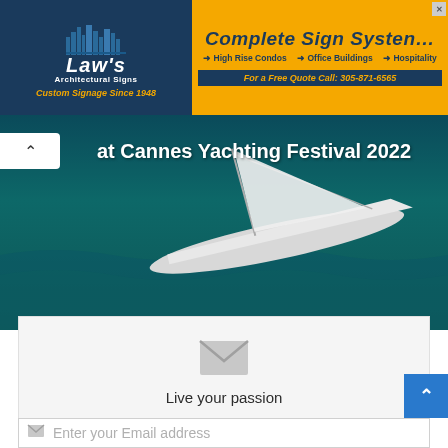[Figure (screenshot): Law's Architectural Signs advertisement banner on the left (dark navy background with city skyline silhouette, company name and 'Custom Signage Since 1948') and Complete Sign Systems advertisement on the right (orange/gold background with navy text, listing High Rise Condos, Office Buildings, Hospitality, and phone number 305-871-6565)]
[Figure (photo): Yacht sailing on dark teal ocean water at Cannes Yachting Festival 2022, with a white chevron back button on the left and title text 'at Cannes Yachting Festival 2022' overlaid on the image]
Live your passion
Subscribe to our mailing list!
Enter your Email address